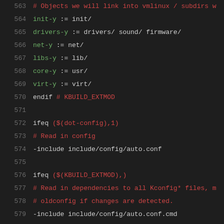563 # Objects we will link into vmlinux / subdirs w
564 init-y          := init/
565 drivers-y        := drivers/ sound/ firmware/
566 net-y             := net/
567 libs-y            := lib/
568 core-y            := usr/
569 virt-y            := virt/
570 endif # KBUILD_EXTMOD
571
572 ifeq ($(dot-config),1)
573 # Read in config
574 -include include/config/auto.conf
575
576 ifeq ($(KBUILD_EXTMOD),)
577 # Read in dependencies to all Kconfig* files, m
578 # oldconfig if changes are detected.
579 -include include/config/auto.conf.cmd
580
581 # To avoid any implicit rule to kick in, define
582 $(KCONFIG_CONFIG) include/config/auto.conf.cmd:
583
584 # If .config is newer than include/config/auto